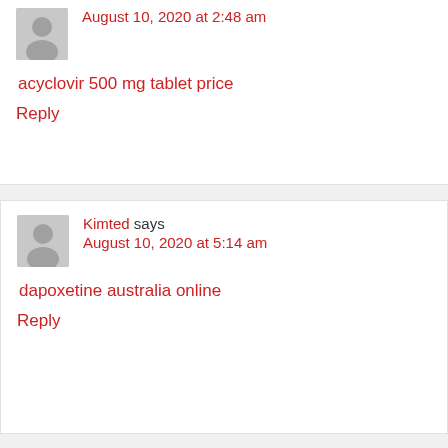August 10, 2020 at 2:48 am
acyclovir 500 mg tablet price
Reply
Kimted says August 10, 2020 at 5:14 am
dapoxetine australia online
Reply